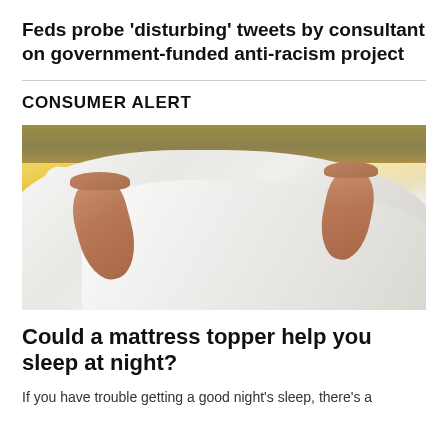Feds probe 'disturbing' tweets by consultant on government-funded anti-racism project
CONSUMER ALERT
[Figure (photo): Photo of two pairs of feet sticking out from under white bed sheets on a bed, with a warm yellow-lit room in the background. Wooden headboard visible at top.]
Could a mattress topper help you sleep at night?
If you have trouble getting a good night's sleep, there's a